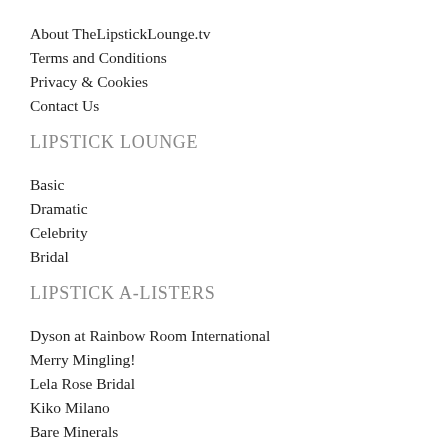About TheLipstickLounge.tv
Terms and Conditions
Privacy & Cookies
Contact Us
LIPSTICK LOUNGE
Basic
Dramatic
Celebrity
Bridal
LIPSTICK A-LISTERS
Dyson at Rainbow Room International
Merry Mingling!
Lela Rose Bridal
Kiko Milano
Bare Minerals
BEAUTY NEWS
Beauty Boost
Atomy Absolute